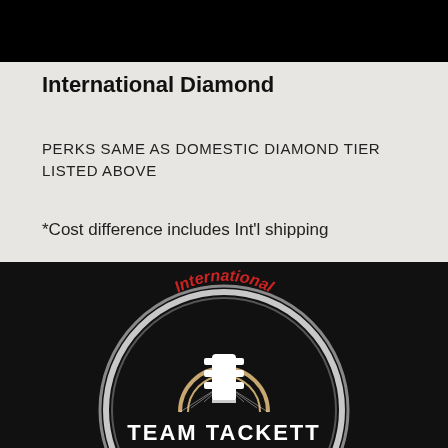[Figure (photo): Black bar at the top of the page, upper portion of a dark image]
International Diamond
PERKS SAME AS DOMESTIC DIAMOND TIER LISTED ABOVE
*Cost difference includes Int'l shipping
[Figure (logo): Team Tackett International logo: circular badge with guitar headstock, text 'International' in red at top, 'TEAM TACKETT' in white bold text at bottom, on black background]